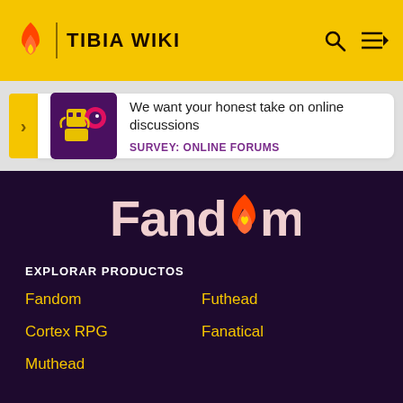TIBIA WIKI
[Figure (infographic): Survey banner: robot/gaming character image with text 'We want your honest take on online discussions' and link 'SURVEY: ONLINE FORUMS']
[Figure (logo): Fandom logo with flame icon replacing the letter 'o']
EXPLORAR PRODUCTOS
Fandom
Futhead
Cortex RPG
Fanatical
Muthead